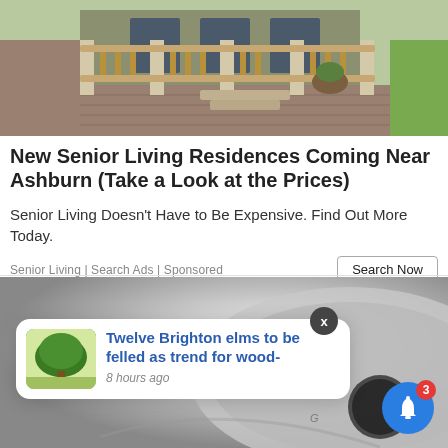[Figure (photo): Exterior photo of a house porch with wooden railing, stone steps, and brick patio]
New Senior Living Residences Coming Near Ashburn (Take a Look at the Prices)
Senior Living Doesn't Have to Be Expensive. Find Out More Today.
Senior Living | Search Ads | Sponsored
[Figure (screenshot): Bottom ad showing a silver watch/device with a notification popup overlay reading 'Twelve Brighton elms to be felled as trend for wood-' with timestamp '8 hours ago', an X close button, and a blue bell icon with badge showing 3]